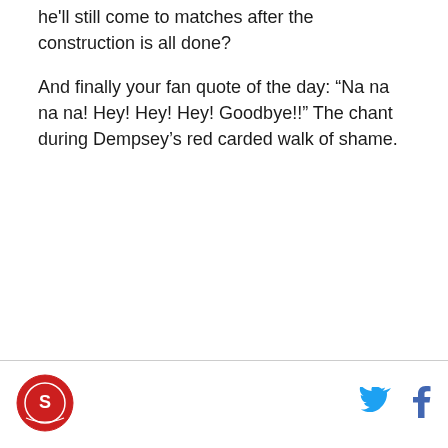he'll still come to matches after the construction is all done?
And finally your fan quote of the day: “Na na na na! Hey! Hey! Hey! Goodbye!!” The chant during Dempsey’s red carded walk of shame.
[Figure (logo): Circular red logo with team emblem]